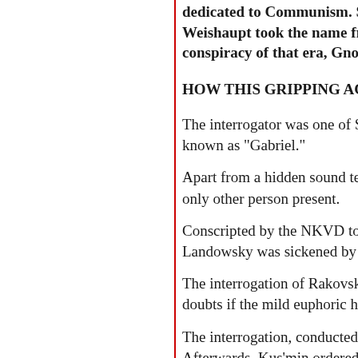dedicated to Communism. Si... Weishaupt took the name fro... conspiracy of that era, Gnost...
HOW THIS GRIPPING ACCOUN...
The interrogator was one of Sta... known as “Gabriel.”
Apart from a hidden sound tec... only other person present.
Conscripted by the NKVD to he... Landowsky was sickened by the...
The interrogation of Rakovsky,... doubts if the mild euphoric he p...
The interrogation, conducted in... Afterwards, Kus’min ordered La... Russian and make two copies.